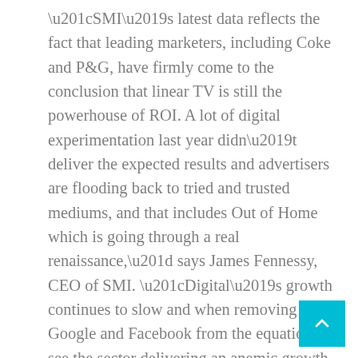“SMI’s latest data reflects the fact that leading marketers, including Coke and P&G, have firmly come to the conclusion that linear TV is still the powerhouse of ROI. A lot of digital experimentation last year didn’t deliver the expected results and advertisers are flooding back to tried and trusted mediums, and that includes Out of Home which is going through a real renaissance,” says James Fennessy, CEO of SMI. “Digital’s growth continues to slow and when removing Google and Facebook from the equation we see the sector delivering an anemic growth rate of